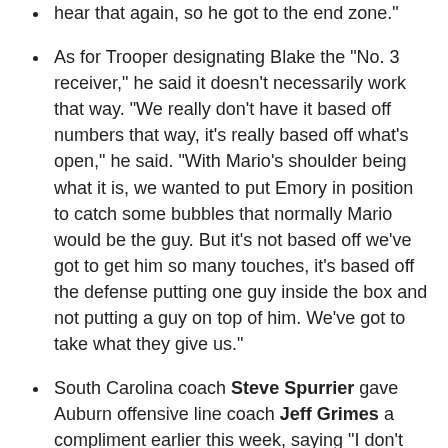hear that again, so he got to the end zone."
As for Trooper designating Blake the "No. 3 receiver," he said it doesn't necessarily work that way. "We really don't have it based off numbers that way, it's really based off what's open," he said. "With Mario's shoulder being what it is, we wanted to put Emory in position to catch some bubbles that normally Mario would be the guy. But it's not based off we've got to get him so many touches, it's based off the defense putting one guy inside the box and not putting a guy on top of him. We've got to take what they give us."
South Carolina coach Steve Spurrier gave Auburn offensive line coach Jeff Grimes a compliment earlier this week, saying "I don't know who their line coach is, but he's a hell of a coach." Grimes' response? "Yeah, I need to send Coach Spurrier a check, I believe."
Grimes, usually a tough critic, was impressed by the play of Auburn's line. "Normally when I watch a game